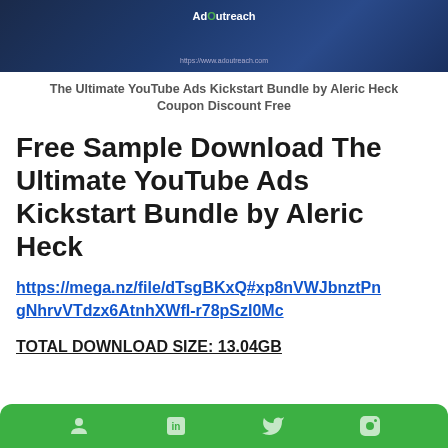[Figure (screenshot): Banner image with dark blue gradient background and AdOutreach branding text in white, with green O letter]
The Ultimate YouTube Ads Kickstart Bundle by Aleric Heck Coupon Discount Free
Free Sample Download The Ultimate YouTube Ads Kickstart Bundle by Aleric Heck
https://mega.nz/file/dTsgBKxQ#xp8nVWJbnztPngNhrvVTdzx6AtnhXWfI-r78pSzI0Mc
TOTAL DOWNLOAD SIZE: 13.04GB
[Figure (screenshot): Green rounded bar at bottom with social media icons]